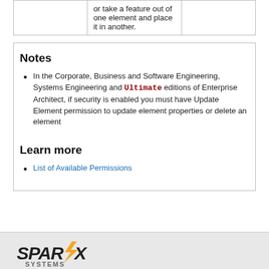|  | or take a feature out of one element and place it in another. |  |
Notes
In the Corporate, Business and Software Engineering, Systems Engineering and Ultimate editions of Enterprise Architect, if security is enabled you must have Update Element permission to update element properties or delete an element
Learn more
List of Available Permissions
SPARX SYSTEMS